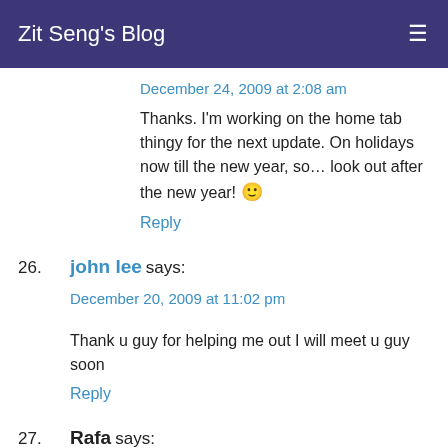Zit Seng's Blog
December 24, 2009 at 2:08 am
Thanks. I'm working on the home tab thingy for the next update. On holidays now till the new year, so... look out after the new year! 🙂
Reply
26. john lee says: December 20, 2009 at 11:02 pm
Thank u guy for helping me out I will meet u guy soon
Reply
27. Rafa says: May 3, 2010 at 7:09 am